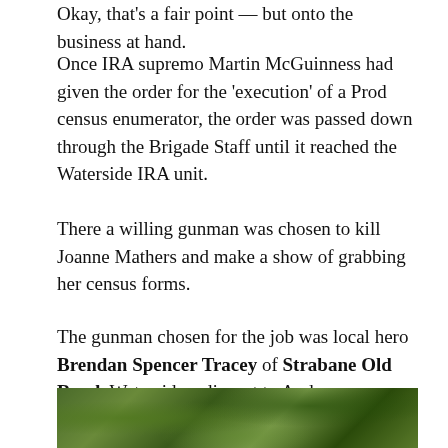Okay, that's a fair point — but onto the business at hand.
Once IRA supremo Martin McGuinness had given the order for the 'execution' of a Prod census enumerator, the order was passed down through the Brigade Staff until it reached the Waterside IRA unit.
There a willing gunman was chosen to kill Joanne Mathers and make a show of grabbing her census forms.
The gunman chosen for the job was local hero Brendan Spencer Tracey of Strabane Old Road, Waterside, adjacent to Anderson Crescent where Joanne Mathers was murdered.
[Figure (photo): Outdoor photo showing green foliage/trees]